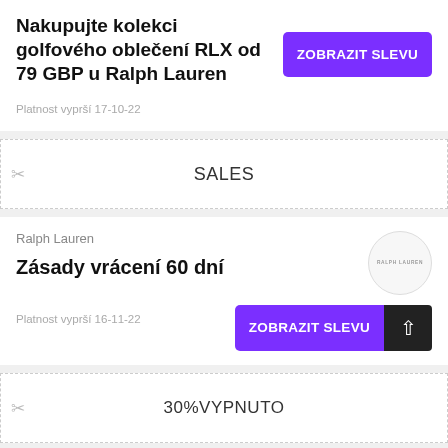Nakupujte kolekci golfového oblečení RLX od 79 GBP u Ralph Lauren
[Figure (other): Purple button labeled ZOBRAZIT SLEVU]
Platnost vyprší 17-10-22
SALES
Ralph Lauren
[Figure (logo): Ralph Lauren logo circle]
Zásady vrácení 60 dní
[Figure (other): Purple button labeled ZOBRAZIT SLEVU with dark back-to-top arrow button]
Platnost vyprší 16-11-22
30%VYPNUTO